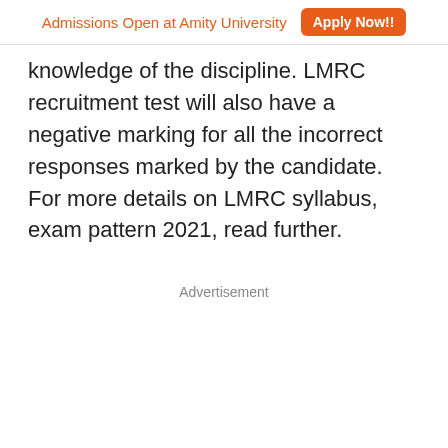Admissions Open at Amity University  Apply Now!!
knowledge of the discipline. LMRC recruitment test will also have a negative marking for all the incorrect responses marked by the candidate. For more details on LMRC syllabus, exam pattern 2021, read further.
Advertisement